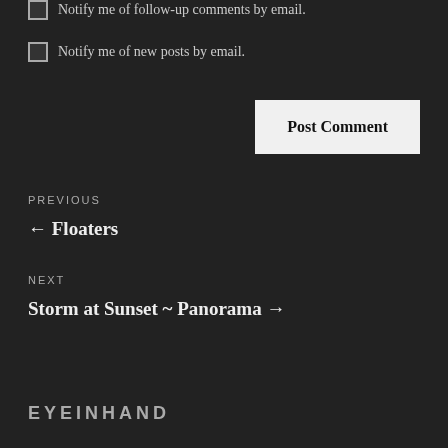Notify me of follow-up comments by email.
Notify me of new posts by email.
Post Comment
PREVIOUS
← Floaters
NEXT
Storm at Sunset ~ Panorama →
EYEINHAND